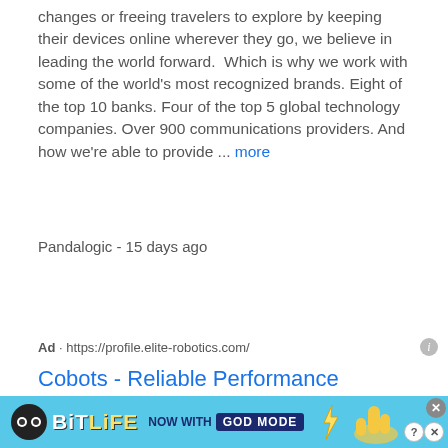changes or freeing travelers to explore by keeping their devices online wherever they go, we believe in leading the world forward.  Which is why we work with some of the world's most recognized brands. Eight of the top 10 banks. Four of the top 5 global technology companies. Over 900 communications providers. And how we're able to provide ... more
Pandalogic - 15 days ago
Ad · https://profile.elite-robotics.com/
Cobots - Reliable Performance
This site uses cookies and other similar technologies to provide site functionality, analyze traffic and usage, and
[Figure (screenshot): BitLife advertisement banner with lightning bolt design, 'NOW WITH GOD MODE' text, and cartoon hand pointer. Blue background with close and question mark buttons.]